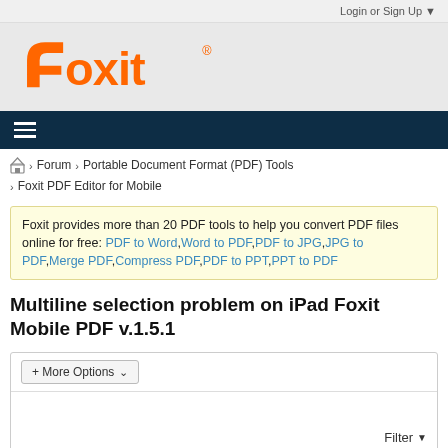Login or Sign Up ▼
[Figure (logo): Foxit logo in orange color with registered trademark symbol]
≡ (hamburger menu icon)
🏠 > Forum > Portable Document Format (PDF) Tools > Foxit PDF Editor for Mobile
Foxit provides more than 20 PDF tools to help you convert PDF files online for free: PDF to Word,Word to PDF,PDF to JPG,JPG to PDF,Merge PDF,Compress PDF,PDF to PPT,PPT to PDF
Multiline selection problem on iPad Foxit Mobile PDF v.1.5.1
+ More Options ∨
Filter ▼